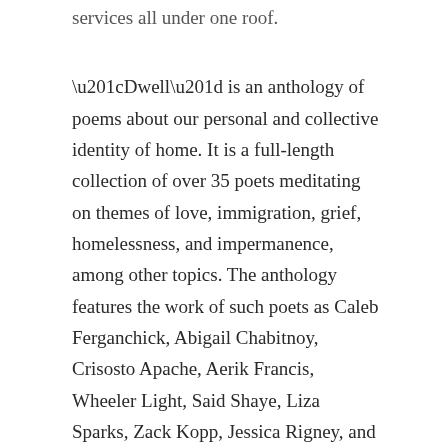services all under one roof.
“Dwell” is an anthology of poems about our personal and collective identity of home. It is a full-length collection of over 35 poets meditating on themes of love, immigration, grief, homelessness, and impermanence, among other topics. The anthology features the work of such poets as Caleb Ferganchick, Abigail Chabitnoy, Crisosto Apache, Aerik Francis, Wheeler Light, Said Shaye, Liza Sparks, Zack Kopp, Jessica Rigney, and many more.
Thank you to LiveWork Denver, who provided a generous grant to make this anthology a reality. In line with the mission of this book, LiveWork Denver does incredible work to create access to homeownership for folks who may otherwise feel ownership is out of reach, including facilitating opportunities in community housing, co-